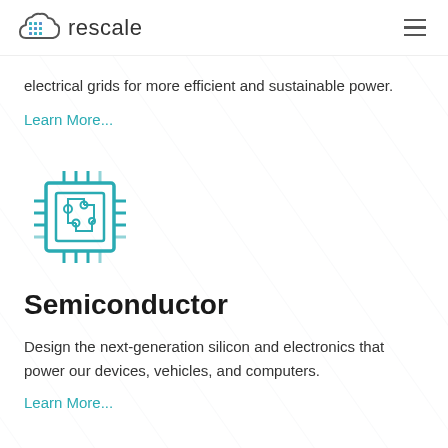rescale
electrical grids for more efficient and sustainable power.
Learn More...
[Figure (illustration): Teal/cyan line-art icon of a microchip/semiconductor chip with circuit traces and pins on all four sides]
Semiconductor
Design the next-generation silicon and electronics that power our devices, vehicles, and computers.
Learn More...